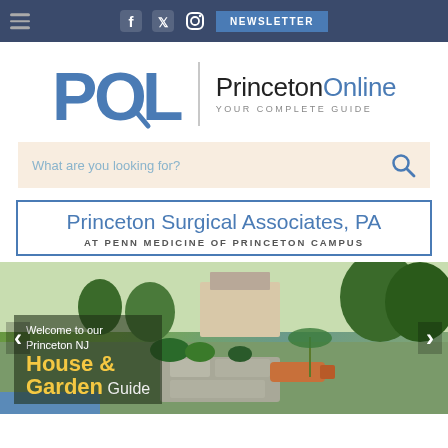Social icons: Facebook, Twitter, Instagram | NEWSLETTER
[Figure (logo): POL logo with magnifying glass and PrincetonOnline YOUR COMPLETE GUIDE text]
What are you looking for?
Princeton Surgical Associates, PA
AT PENN MEDICINE OF PRINCETON CAMPUS
[Figure (photo): Welcome to our Princeton NJ House & Garden Guide — outdoor garden/patio photo with slider arrows]